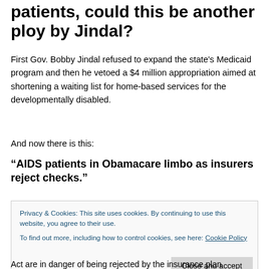patients, could this be another ploy by Jindal?
First Gov. Bobby Jindal refused to expand the state's Medicaid program and then he vetoed a $4 million appropriation aimed at shortening a waiting list for home-based services for the developmentally disabled.
And now there is this:
“AIDS patients in Obamacare limbo as insurers reject checks.”
Privacy & Cookies: This site uses cookies. By continuing to use this website, you agree to their use.
To find out more, including how to control cookies, see here: Cookie Policy
Act are in danger of being rejected by the insurance plan